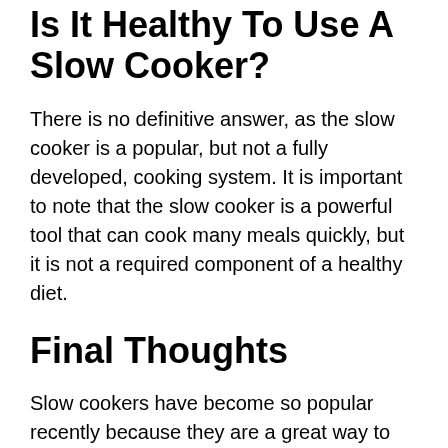Is It Healthy To Use A Slow Cooker?
There is no definitive answer, as the slow cooker is a popular, but not a fully developed, cooking system. It is important to note that the slow cooker is a powerful tool that can cook many meals quickly, but it is not a required component of a healthy diet.
Final Thoughts
Slow cookers have become so popular recently because they are a great way to get delicious foods cooked quickly and easily. There are many different slow cookers for students to choose from, each with its own